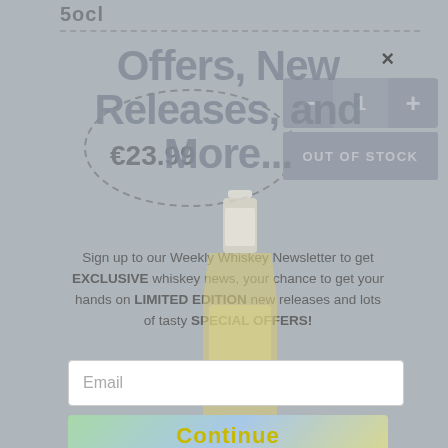Socl
€23.99
1
OUT OF STOCK
Offers, New Releases, and More...
Sign up to our Weekly Whiskey Newsletter to get EXCLUSIVE whiskey news, your chance to get your hands on LIMITED EDITION new releases and lots of tasty SPECIAL OFFERS!
Email
Continue
[Figure (illustration): A whiskey bottle (Dunmullen or similar) shown vertically, semi-transparent, overlaying the newsletter modal popup]
×